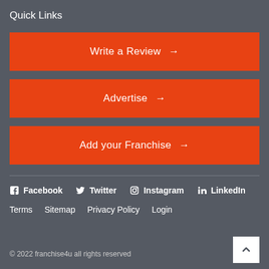Quick Links
Write a Review →
Advertise →
Add your Franchise →
Facebook   Twitter   Instagram   LinkedIn
Terms   Sitemap   Privacy Policy   Login
© 2022 franchise4u all rights reserved